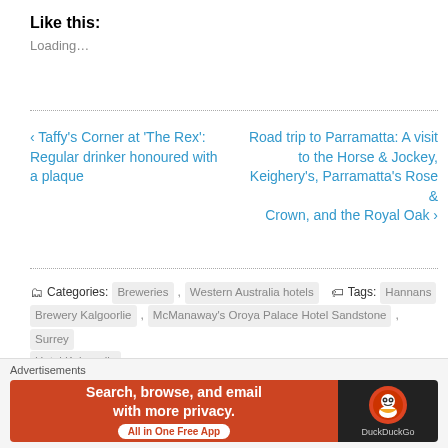Like this:
Loading…
‹ Taffy's Corner at 'The Rex': Regular drinker honoured with a plaque
Road trip to Parramatta: A visit to the Horse & Jockey, Keighery's, Parramatta's Rose & Crown, and the Royal Oak ›
Categories: Breweries , Western Australia hotels   Tags: Hannans Brewery Kalgoorlie , McManaway's Oroya Palace Hotel Sandstone , Surrey Hotel Kalgoorlie
1 reply
Advertisements
[Figure (infographic): DuckDuckGo advertisement banner: orange background with text 'Search, browse, and email with more privacy. All in One Free App' and DuckDuckGo logo on dark background]